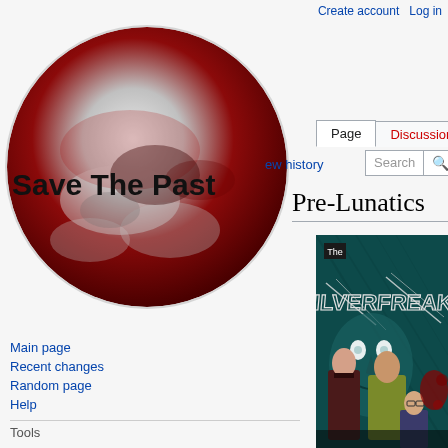Create account  Log in
[Figure (logo): Save The Past wiki logo — circular image of a red moon with text 'Save The Past' overlaid]
Page  Discussion
ew history
Search
Pre-Lunatics
Main page
Recent changes
Random page
Help
Tools
What links here
Related changes
Special pages
Printable version
Permanent link
Page information
[Figure (illustration): The Silverfreak comic book cover art showing stylized face and three characters against a dark teal background with red splatter elements]